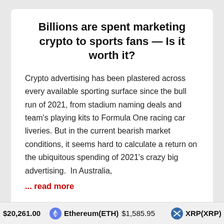Billions are spent marketing crypto to sports fans — Is it worth it?
Crypto advertising has been plastered across every available sporting surface since the bull run of 2021, from stadium naming deals and team's playing kits to Formula One racing car liveries. But in the current bearish market conditions, it seems hard to calculate a return on the ubiquitous spending of 2021's crazy big advertising.  In Australia,
... read more
August 30, 2022
$20,261.00   Ethereum(ETH) $1,585.95   XRP(XRP) $0.332183